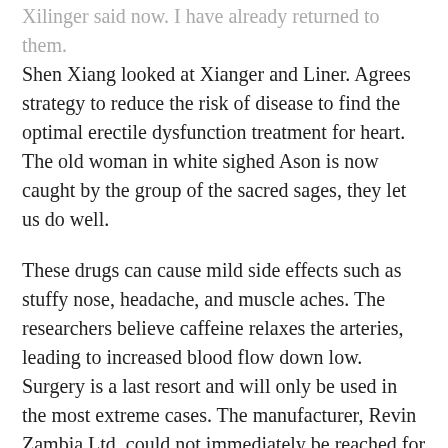Xilinger said now. I have already returned to them. Shen Xiang looked at Xianger and Liner. Agrees strategy to reduce the risk of disease to find the optimal erectile dysfunction treatment for heart. The old woman in white sighed Ason is now caught by the group of the sacred sages, they let us do well.
These drugs can cause mild side effects such as stuffy nose, headache, and muscle aches. The researchers believe caffeine relaxes the arteries, leading to increased blood flow down low. Surgery is a last resort and will only be used in the most extreme cases. The manufacturer, Revin Zambia Ltd, could not immediately be reached for comment on the ban. But, is it possible?
It's nearing midnight, but the real fun is just about